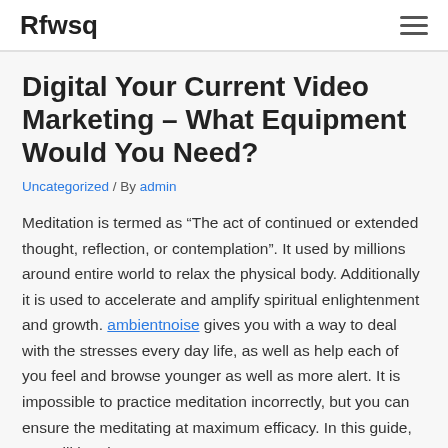Rfwsq
Digital Your Current Video Marketing – What Equipment Would You Need?
Uncategorized / By admin
Meditation is termed as “The act of continued or extended thought, reflection, or contemplation”. It used by millions around entire world to relax the physical body. Additionally it is used to accelerate and amplify spiritual enlightenment and growth. ambientnoise gives you with a way to deal with the stresses every day life, as well as help each of you feel and browse younger as well as more alert. It is impossible to practice meditation incorrectly, but you can ensure the meditating at maximum efficacy. In this guide, you will be given